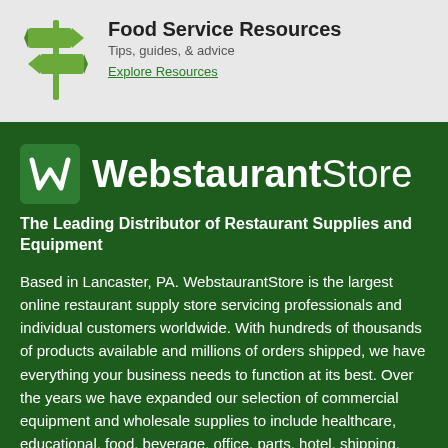[Figure (logo): Green directional sign post icon with two arrows pointing in different directions]
Food Service Resources
Tips, guides, & advice
Explore Resources
[Figure (logo): WebstaurantStore logo with green W icon and white text reading WebstaurantStore]
The Leading Distributor of Restaurant Supplies and Equipment
Based in Lancaster, PA. WebstaurantStore is the largest online restaurant supply store servicing professionals and individual customers worldwide. With hundreds of thousands of products available and millions of orders shipped, we have everything your business needs to function at its best. Over the years we have expanded our selection of commercial equipment and wholesale supplies to include healthcare, educational, food, beverage, office, parts, hotel, shipping, and industrial supplies.